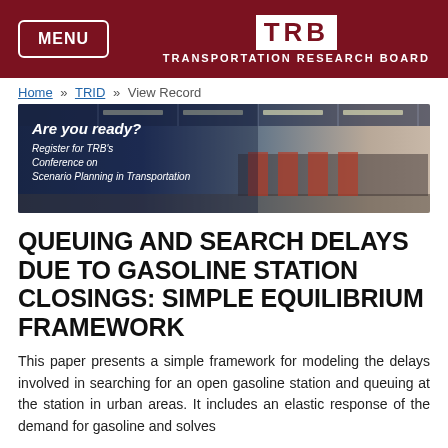MENU | TRB TRANSPORTATION RESEARCH BOARD
Home » TRID » View Record
[Figure (photo): TRB conference advertisement banner showing a masked woman in an airport with text: 'Are you ready? Register for TRB's Conference on Scenario Planning in Transportation']
QUEUING AND SEARCH DELAYS DUE TO GASOLINE STATION CLOSINGS: SIMPLE EQUILIBRIUM FRAMEWORK
This paper presents a simple framework for modeling the delays involved in searching for an open gasoline station and queuing at the station in urban areas. It includes an elastic response of the demand for gasoline and solves